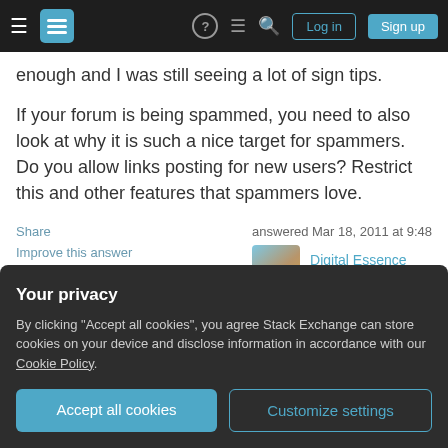Stack Exchange navigation bar with hamburger menu, logo, help, chat, search, Log in, Sign up
enough and I was still seeing a lot of sign tips.
If your forum is being spammed, you need to also look at why it is such a nice target for spammers. Do you allow links posting for new users? Restrict this and other features that spammers love.
Share
Improve this answer
Follow
answered Mar 18, 2011 at 9:48
Digital Essence
1,342 ●7 ●16
I think the question is not 'how to block spammers' but
Your privacy
By clicking "Accept all cookies", you agree Stack Exchange can store cookies on your device and disclose information in accordance with our Cookie Policy.
Accept all cookies
Customize settings
human spammers posting by hand. This is a nice answer though, even though somewhat unrelated, and